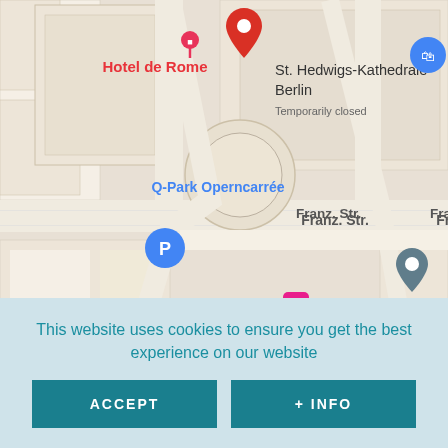[Figure (map): Google Maps screenshot showing the area around St. Hedwigs-Kathedrale Berlin (marked as Temporarily closed), Hotel de Rome in red text, Q-Park Operncarrée in blue text, Franz. Str. street labels, a blue P parking marker, restaurant/hotel map pins, and Deutsche Tele label at bottom right.]
Saint Hedwig's Cathedral is situated in Bebelplatz. It is a building that can be seen from far off because of its impressive copper dome, which you will be able to identify easily.
Frederick the Great, King of Prussia, ordered its construction in the 18th century and it was given its name in honour of Saint Eduvigis,
This website uses cookies to ensure you get the best experience on our website